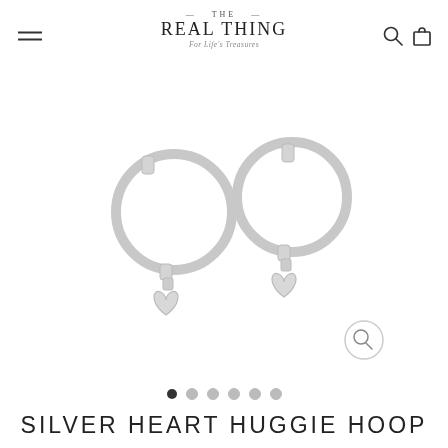THE REAL THING — For Life's Treasures
[Figure (photo): Two silver huggie hoop earrings with heart charms dangling, photographed on white background]
SILVER HEART HUGGIE HOOP